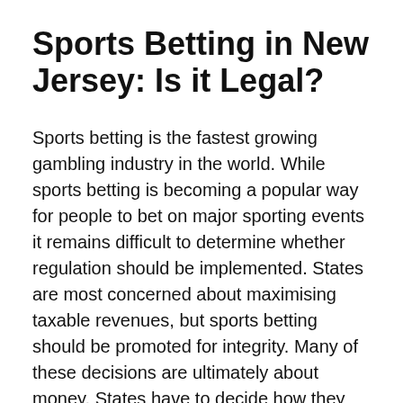Sports Betting in New Jersey: Is it Legal?
Sports betting is the fastest growing gambling industry in the world. While sports betting is becoming a popular way for people to bet on major sporting events it remains difficult to determine whether regulation should be implemented. States are most concerned about maximising taxable revenues, but sports betting should be promoted for integrity. Many of these decisions are ultimately about money. States have to decide how they want to regulate the industry, and determine the tax rate. They must also decide